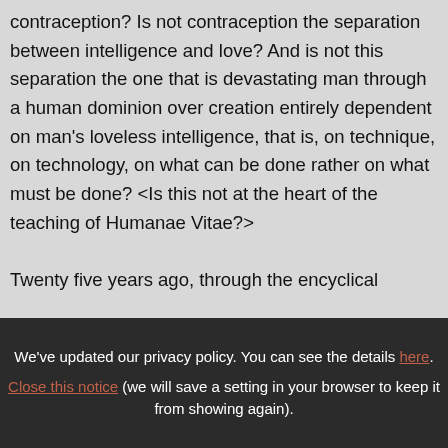contraception? Is not contraception the separation between intelligence and love? And is not this separation the one that is devastating man through a human dominion over creation entirely dependent on man's loveless intelligence, that is, on technique, on technology, on what can be done rather on what must be done? <Is this not at the heart of the teaching of Humanae Vitae?>

Twenty five years ago, through the encyclical
We've updated our privacy policy. You can see the details here. Close this notice (we will save a setting in your browser to keep it from showing again).